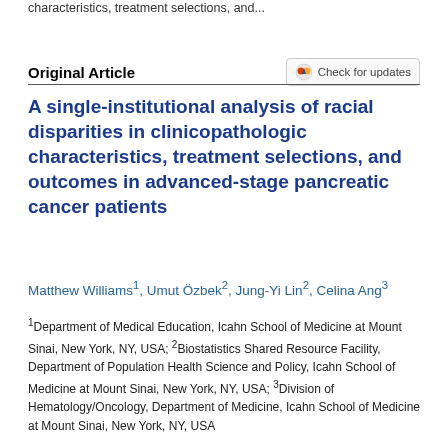characteristics, treatment selections, and...
Original Article
A single-institutional analysis of racial disparities in clinicopathologic characteristics, treatment selections, and outcomes in advanced-stage pancreatic cancer patients
Matthew Williams¹, Umut Özbek², Jung-Yi Lin², Celina Ang³
¹Department of Medical Education, Icahn School of Medicine at Mount Sinai, New York, NY, USA; ²Biostatistics Shared Resource Facility, Department of Population Health Science and Policy, Icahn School of Medicine at Mount Sinai, New York, NY, USA; ³Division of Hematology/Oncology, Department of Medicine, Icahn School of Medicine at Mount Sinai, New York, NY, USA